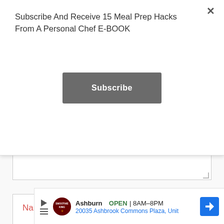Subscribe And Receive 15 Meal Prep Hacks From A Personal Chef E-BOOK
Subscribe
[Figure (screenshot): Text area input field (bottom portion visible) with a resize handle in the bottom right corner]
Name *
Email *
[Figure (infographic): Ad banner: Smoothie King logo, Ashburn OPEN 8AM-8PM, 20035 Ashbrook Commons Plaza, Unit, with navigation arrow button]